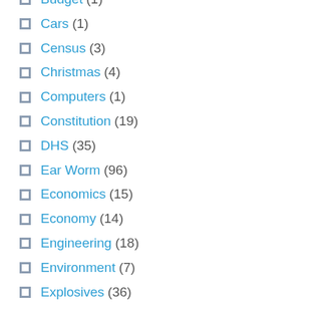Budget (1)
Cars (1)
Census (3)
Christmas (4)
Computers (1)
Constitution (19)
DHS (35)
Ear Worm (96)
Economics (15)
Economy (14)
Engineering (18)
Environment (7)
Explosives (36)